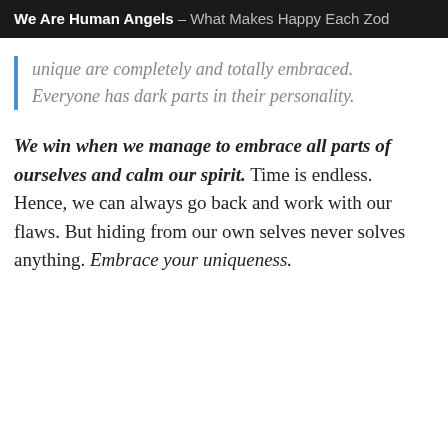We Are Human Angels – What Makes Happy Each Zod
unique are completely and totally embraced. Everyone has dark parts in their personality.
We win when we manage to embrace all parts of ourselves and calm our spirit. Time is endless. Hence, we can always go back and work with our flaws. But hiding from our own selves never solves anything. Embrace your uniqueness.